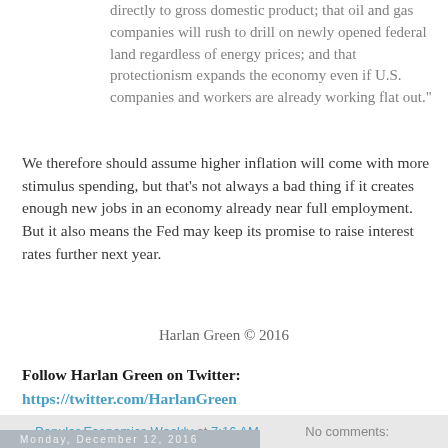directly to gross domestic product; that oil and gas companies will rush to drill on newly opened federal land regardless of energy prices; and that protectionism expands the economy even if U.S. companies and workers are already working flat out."
We therefore should assume higher inflation will come with more stimulus spending, but that’s not always a bad thing if it creates enough new jobs in an economy already near full employment. But it also means the Fed may keep its promise to raise interest rates further next year.
Harlan Green © 2016
Follow Harlan Green on Twitter: https://twitter.com/HarlanGreen
Popular Economics Weekly at 7:16 AM   No comments:
Monday, December 12, 2016